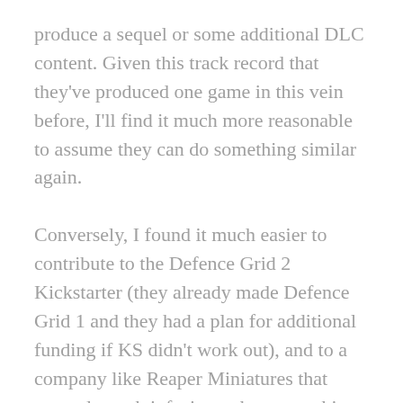produce a sequel or some additional DLC content. Given this track record that they've produced one game in this vein before, I'll find it much more reasonable to assume they can do something similar again.
Conversely, I found it much easier to contribute to the Defence Grid 2 Kickstarter (they already made Defence Grid 1 and they had a plan for additional funding if KS didn't work out), and to a company like Reaper Miniatures that wanted a cash infusion to buy a machine for their special plastic/resin